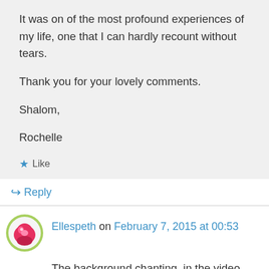It was on of the most profound experiences of my life, one that I can hardly recount without tears.
Thank you for your lovely comments.
Shalom,
Rochelle
★ Like
↳ Reply
Ellespeth on February 7, 2015 at 00:53
The background chanting, in the video, and the announcer's low voice vibrated within me.